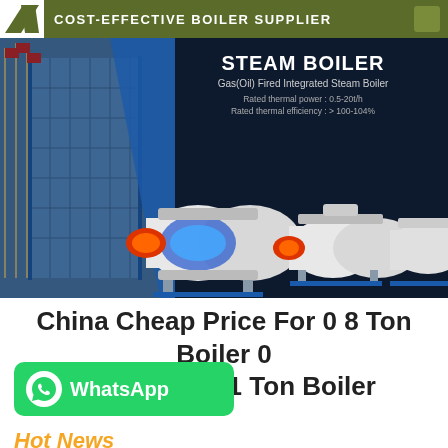COST-EFFECTIVE BOILER SUPPLIER
[Figure (photo): Steam Boiler product banner showing Gas(Oil) Fired Integrated Steam Boiler with specifications: Rated thermal power 0.5-20t/h, Rated thermal efficiency >100-104%. Shows industrial building with flags on left and three boiler units on right against dark background.]
China Cheap Price For 0 8 Ton Boiler 0 8 Ton Boiler 1 Ton Boiler
[Figure (logo): WhatsApp button with green background, phone icon, and WhatsApp text]
Hot News